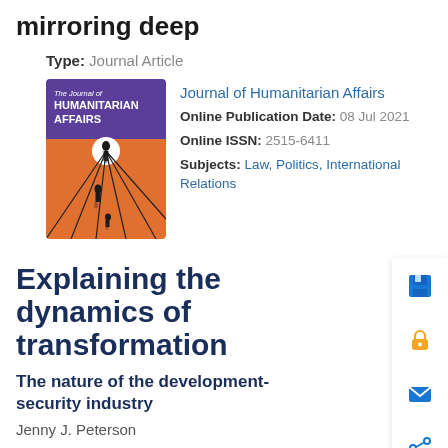mirroring deep
Type: Journal Article
[Figure (illustration): Cover image of The Journal of Humanitarian Affairs — purple header with title text, orange lower section with silhouetted figures and converging lines, white moon/circle]
Journal of Humanitarian Affairs
Online Publication Date: 08 Jul 2021
Online ISSN: 2515-6411
Subjects: Law, Politics, International Relations
Explaining the dynamics of transformation
The nature of the development-security industry
Jenny J. Peterson